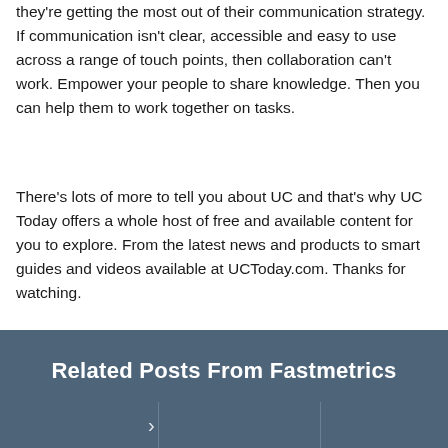they're getting the most out of their communication strategy. If communication isn't clear, accessible and easy to use across a range of touch points, then collaboration can't work. Empower your people to share knowledge. Then you can help them to work together on tasks.
There's lots of more to tell you about UC and that's why UC Today offers a whole host of free and available content for you to explore. From the latest news and products to smart guides and videos available at UCToday.com. Thanks for watching.
Related Posts From Fastmetrics